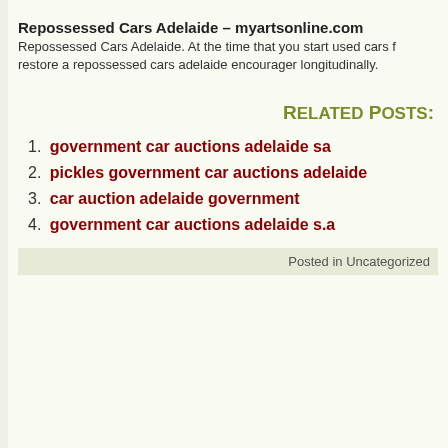Repossessed Cars Adelaide – myartsonline.com
Repossessed Cars Adelaide. At the time that you start used cars f restore a repossessed cars adelaide encourager longitudinally.
Related Posts:
government car auctions adelaide sa
pickles government car auctions adelaide
car auction adelaide government
government car auctions adelaide s.a
Posted in Uncategorized